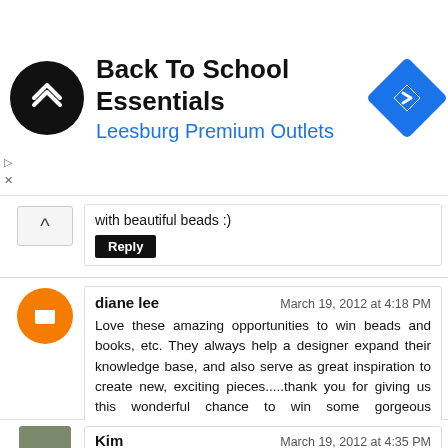[Figure (infographic): Ad banner: Back To School Essentials at Leesburg Premium Outlets with circular black logo and blue diamond navigation icon]
with beautiful beads :)
Reply
diane lee
March 19, 2012 at 4:18 PM
Love these amazing opportunities to win beads and books, etc. They always help a designer expand their knowledge base, and also serve as great inspiration to create new, exciting pieces.....thank you for giving us this wonderful chance to win some gorgeous beads.....loves ya (hope I win !:)) xo
~diane
Reply
Kim
March 19, 2012 at 4:35 PM